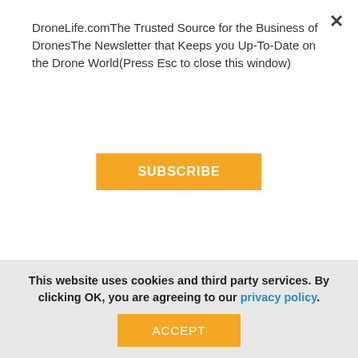DroneLife.comThe Trusted Source for the Business of DronesThe Newsletter that Keeps you Up-To-Date on the Drone World(Press Esc to close this window)
SUBSCRIBE
...function etc, or just held in your hands. Its this flexibility that will set the Karma apart from the rest.
How much does the GoPro Karma cost?
The Karma will retail at $799, and is compatible with GoPro’s Hero 4 and Hero 5 cameras.
If you want the Karma with GoPro’s latest Hero 5 camera,
This website uses cookies and third party services. By clicking OK, you are agreeing to our privacy policy.
ACCEPT